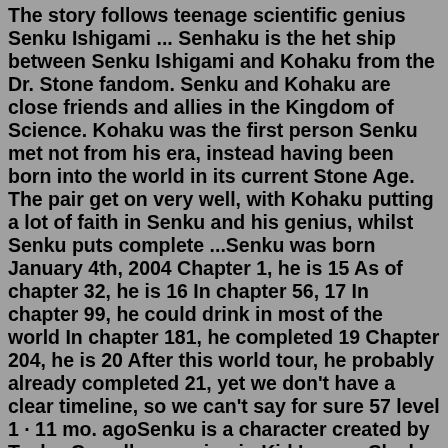The story follows teenage scientific genius Senku Ishigami ... Senhaku is the het ship between Senku Ishigami and Kohaku from the Dr. Stone fandom. Senku and Kohaku are close friends and allies in the Kingdom of Science. Kohaku was the first person Senku met not from his era, instead having been born into the world in its current Stone Age. The pair get on very well, with Kohaku putting a lot of faith in Senku and his genius, whilst Senku puts complete ...Senku was born January 4th, 2004 Chapter 1, he is 15 As of chapter 32, he is 16 In chapter 56, 17 In chapter 99, he could drink in most of the world In chapter 181, he completed 19 Chapter 204, he is 20 After this world tour, he probably already completed 21, yet we don't have a clear timeline, so we can't say for sure 57 level 1 · 11 mo. agoSenku is a character created by Taylor Gorrell appearing in Kid Icarus: Clash of Angels. One of the Synthetic Angels, he is an enemy of Pit and Trip for most of the story. Senku's physical appearance is the youngest of all Synthetic Angels shown in the game, being only around the age